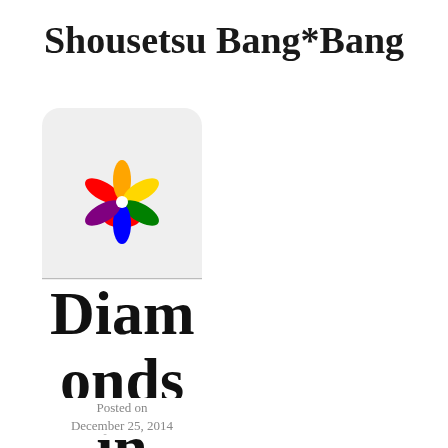Shousetsu Bang*Bang
[Figure (logo): Colorful flower/pinwheel logo with petals in red, orange, yellow, green, purple, and blue on a light gray rounded background]
Diamonds in His Pockets
Posted on
December 25, 2014